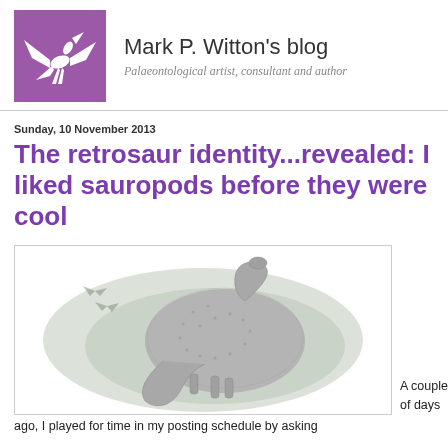Mark P. Witton's blog — Palaeontological artist, consultant and author
Sunday, 10 November 2013
The retrosaur identity...revealed: I liked sauropods before they were cool
[Figure (illustration): Pencil-style illustration of a sauropod dinosaur curled in a circular pose on a pale grey watercolour wash background, with faint flying pterosaurs in the background]
A couple of days ago, I played for time in my posting schedule by asking